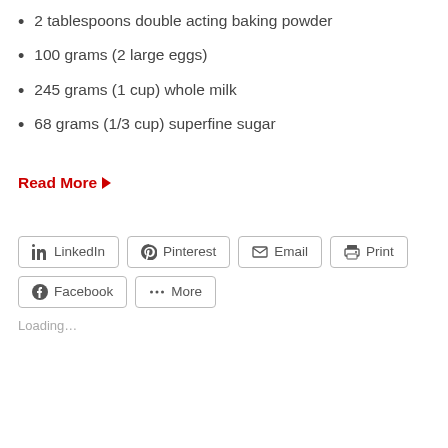2 tablespoons double acting baking powder
100 grams (2 large eggs)
245 grams (1 cup) whole milk
68 grams (1/3 cup) superfine sugar
Read More ▶
LinkedIn  Pinterest  Email  Print  Facebook  More
Loading...